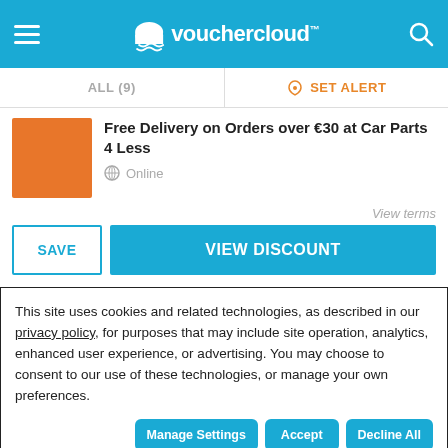[Figure (logo): Vouchercloud logo with cloud icon, hamburger menu and search icon on blue header bar]
ALL (9) | SET ALERT
Free Delivery on Orders over €30 at Car Parts 4 Less
Online
View terms
SAVE
VIEW DISCOUNT
This site uses cookies and related technologies, as described in our privacy policy, for purposes that may include site operation, analytics, enhanced user experience, or advertising. You may choose to consent to our use of these technologies, or manage your own preferences.
Manage Settings
Accept
Decline All